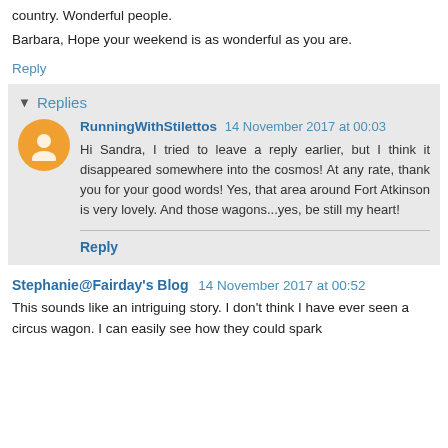country. Wonderful people.
Barbara, Hope your weekend is as wonderful as you are.
Reply
Replies
RunningWithStilettos 14 November 2017 at 00:03
Hi Sandra, I tried to leave a reply earlier, but I think it disappeared somewhere into the cosmos! At any rate, thank you for your good words! Yes, that area around Fort Atkinson is very lovely. And those wagons...yes, be still my heart!
Reply
Stephanie@Fairday's Blog 14 November 2017 at 00:52
This sounds like an intriguing story. I don't think I have ever seen a circus wagon. I can easily see how they could spark